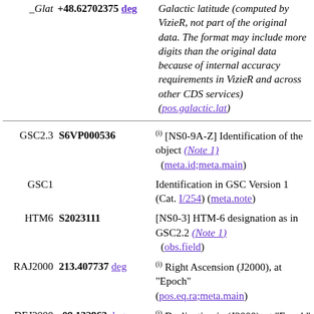| Name | Value | Description |
| --- | --- | --- |
| _Glat | +48.62702375 deg | Galactic latitude (computed by VizieR, not part of the original data. The format may include more digits than the original data because of internal accuracy requirements in VizieR and across other CDS services) (pos.galactic.lat) |
| GSC2.3 | S6VP000536 | (i) [NS0-9A-Z] Identification of the object (Note 1) (meta.id;meta.main) |
| GSC1 |  | Identification in GSC Version 1 (Cat. I/254) (meta.note) |
| HTM6 | S2023111 | [NS0-3] HTM-6 designation as in GSC2.2 (Note 1) (obs.field) |
| RAJ2000 | 213.407737 deg | (i) Right Ascension (J2000), at "Epoch" (pos.eq.ra;meta.main) |
| DEJ2000 | -09.132963 deg | (i) Declination in (J2000), at "Epoch" |